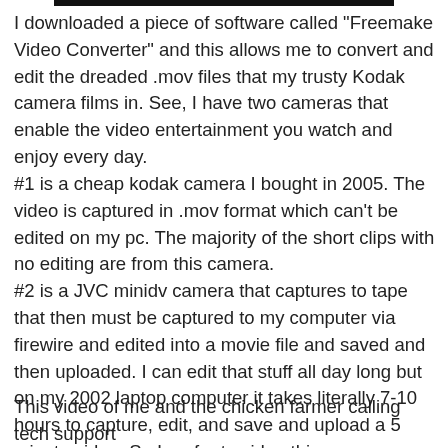I downloaded a piece of software called "Freemake Video Converter" and this allows me to convert and edit the dreaded .mov files that my trusty Kodak camera films in. See, I have two cameras that enable the video entertainment you watch and enjoy every day.
#1 is a cheap kodak camera I bought in 2005. The video is captured in .mov format which can't be edited on my pc. The majority of the short clips with no editing are from this camera.
#2 is a JVC minidv camera that captures to tape that then must be captured to my computer via firewire and edited into a movie file and saved and then uploaded. I can edit that stuff all day long but on my 2002 laptop computer it takes literally 7-10 hours to capture, edit, and save and upload a 5 minute video. So I prefer to video things spontaneously with the kodak and skip the editing. This feeds my need to improvise entertainment because I know I can't edit it. (this camera is ruined and I need $1500 for a new one and until that happens I can't capture all my arctic wolf footage and edit it.)
This video of me and the chicken farmer calling tech support